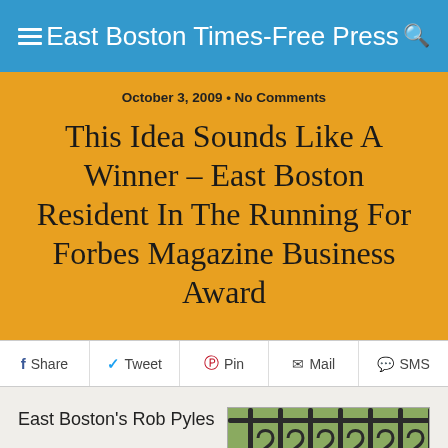East Boston Times-Free Press
October 3, 2009 • No Comments
This Idea Sounds Like A Winner – East Boston Resident In The Running For Forbes Magazine Business Award
Share  Tweet  Pin  Mail  SMS
East Boston's Rob Pyles
[Figure (photo): Decorative wrought iron gate with scrollwork design, with colorful flowers visible behind it]